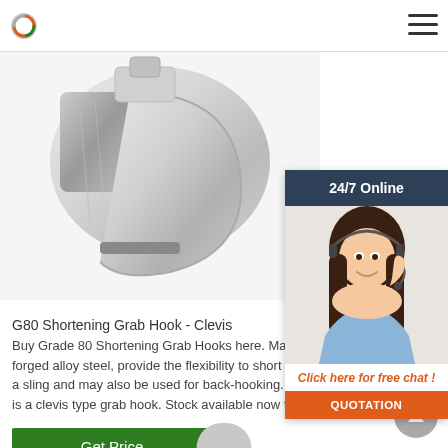Navigation bar with logo and menu icon
[Figure (photo): Close-up photo of a G80 Shortening Grab Hook - Clevis, made of silver/chrome forged alloy steel]
[Figure (photo): 24/7 Online chat widget showing a female customer service agent with headset, with 'Click here for free chat!' text and QUOTATION button]
G80 Shortening Grab Hook - Clevis
Buy Grade 80 Shortening Grab Hooks here. Made from forged alloy steel, provide the flexibility to shorten a sling and may also be used for back-hooking. This is a clevis type grab hook. Stock available now for immediates
Get Price